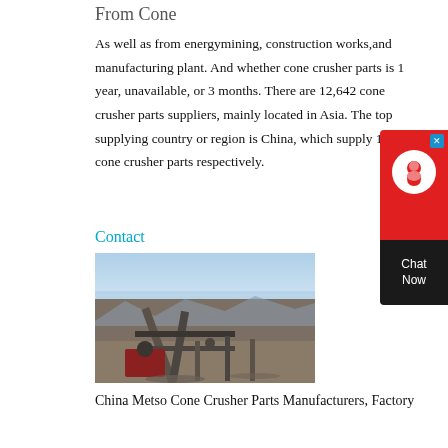From Cone
As well as from energymining, construction works,and manufacturing plant. And whether cone crusher parts is 1 year, unavailable, or 3 months. There are 12,642 cone crusher parts suppliers, mainly located in Asia. The top supplying country or region is China, which supply 100% of cone crusher parts respectively.
Contact
[Figure (photo): Photo of a cone crusher machine/mining equipment at an outdoor site with mountains in background]
China Metso Cone Crusher Parts Manufacturers, Factory